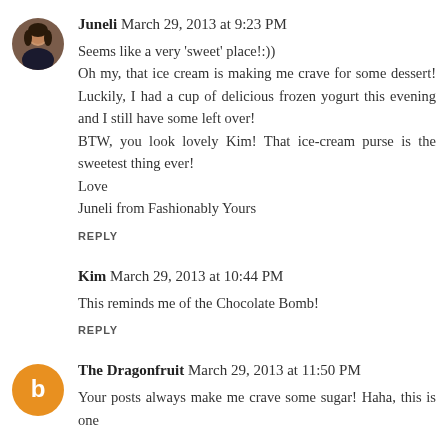[Figure (photo): Round avatar photo of a person (Juneli), dark hair, dark top]
Juneli March 29, 2013 at 9:23 PM
Seems like a very 'sweet' place!:))
Oh my, that ice cream is making me crave for some dessert! Luckily, I had a cup of delicious frozen yogurt this evening and I still have some left over!
BTW, you look lovely Kim! That ice-cream purse is the sweetest thing ever!
Love
Juneli from Fashionably Yours
REPLY
Kim March 29, 2013 at 10:44 PM
This reminds me of the Chocolate Bomb!
REPLY
[Figure (logo): Round orange circle with white letter B (Blogger avatar) for The Dragonfruit]
The Dragonfruit March 29, 2013 at 11:50 PM
Your posts always make me crave some sugar! Haha, this is one